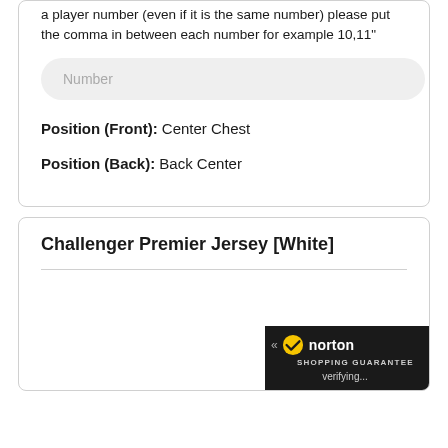a player number (even if it is the same number) please put the comma in between each number for example 10,11"
Number
Position (Front): Center Chest
Position (Back): Back Center
Challenger Premier Jersey [White]
[Figure (logo): Norton Shopping Guarantee badge with yellow checkmark on dark background]